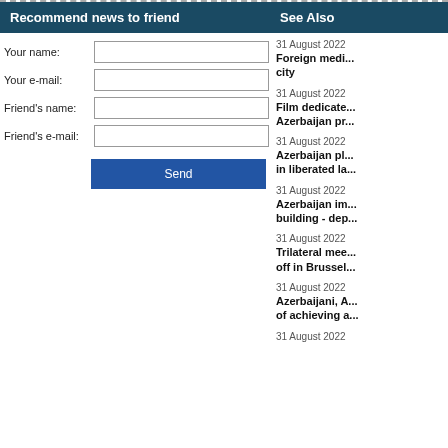Recommend news to friend
Your name:
Your e-mail:
Friend's name:
Friend's e-mail:
See Also
31 August 2022
Foreign medi... city
31 August 2022
Film dedicate... Azerbaijan pr...
31 August 2022
Azerbaijan pl... in liberated la...
31 August 2022
Azerbaijan im... building - dep...
31 August 2022
Trilateral mee... off in Brussel...
31 August 2022
Azerbaijani, A... of achieving a...
31 August 2022